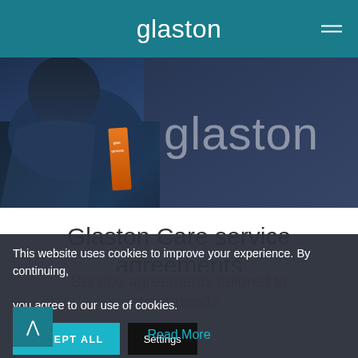glaston
[Figure (photo): Person from behind wearing a dark blue jacket with orange Glaston branded patch, standing in front of a blurred background showing the Glaston logo in large white text]
Glaston Care service agreements
Service agreements tailored to your needs
This website uses cookies to improve your experience. By continuing, you agree to our use of cookies.
ACCEPT ALL
Settings
Read More